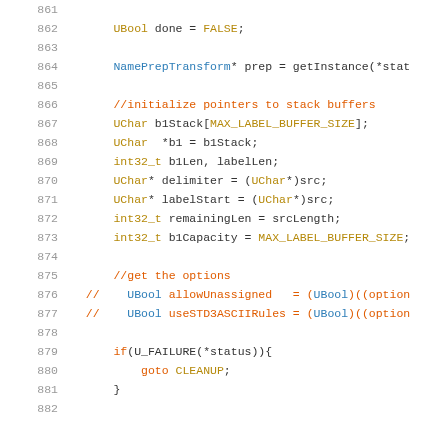861  (blank)
862      UBool done = FALSE;
863  (blank)
864      NamePrepTransform* prep = getInstance(*stat
865  (blank)
866      //initialize pointers to stack buffers
867      UChar b1Stack[MAX_LABEL_BUFFER_SIZE];
868      UChar  *b1 = b1Stack;
869      int32_t b1Len, labelLen;
870      UChar* delimiter = (UChar*)src;
871      UChar* labelStart = (UChar*)src;
872      int32_t remainingLen = srcLength;
873      int32_t b1Capacity = MAX_LABEL_BUFFER_SIZE;
874  (blank)
875      //get the options
876  //    UBool allowUnassigned   = (UBool)((option
877  //    UBool useSTD3ASCIIRules = (UBool)((option
878  (blank)
879      if(U_FAILURE(*status)){
880          goto CLEANUP;
881      }
882  (blank)